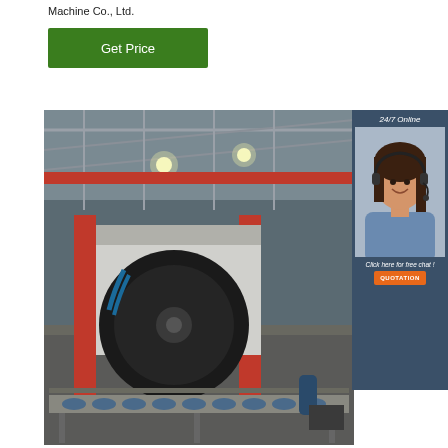Machine Co., Ltd.
[Figure (other): Green 'Get Price' button]
[Figure (photo): Industrial factory floor showing a large pipe bending / coiling machine with red vertical posts, a large black coil/reel, and a roller conveyor in a steel-frame warehouse with overhead lighting.]
[Figure (infographic): 24/7 Online chat panel with a smiling woman wearing a headset, text 'Click here for free chat!' and an orange QUOTATION button on a dark blue-grey background.]